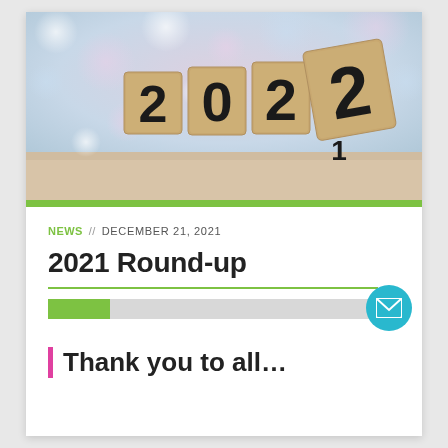[Figure (photo): Wooden blocks showing '2022' with the last block flipping to reveal '1' underneath, bokeh background of soft pink and blue circles]
NEWS // DECEMBER 21, 2021
2021 Round-up
Thank you to all...